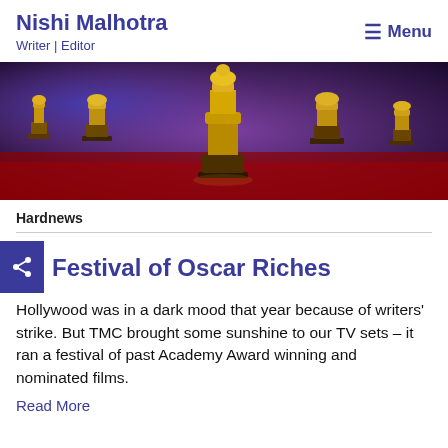Nishi Malhotra — Writer | Editor — Menu
[Figure (photo): A row of golden Oscar-style award trophies on a red surface with a blurred purple/blue background lighting]
Hardnews
Festival of Oscar Riches
Hollywood was in a dark mood that year because of the writers' strike. But TMC brought some sunshine to our TV sets – it ran a festival of past Academy Award winning and nominated films.
Read More